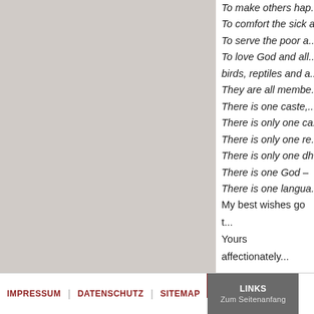[Figure (other): Gray background panel on the left side of the page]
To make others hap...
To comfort the sick a...
To serve the poor a...
To love God and all...
birds, reptiles and a...
They are all membe...
There is one caste,...
There is only one ca...
There is only one re...
There is only one dh...
There is one God –
There is one langua...
My best wishes go t...
Yours affectionately...
IMPRESSUM | DATENSCHUTZ | SITEMAP | LINKS | Zum Seitenanfang